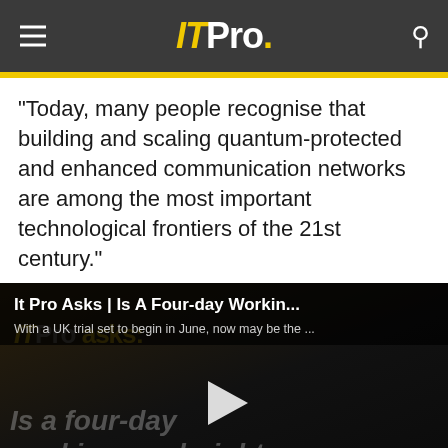ITPro.
"Today, many people recognise that building and scaling quantum-protected and enhanced communication networks are among the most important technological frontiers of the 21st century."
[Figure (screenshot): Video thumbnail for 'It Pro Asks | Is A Four-day Workin...' with subtitle 'With a UK trial set to begin in June, now may be the ...' and overlaid text 'Is a four-day working week right for your business?' with a play button in the center. ITPro asks watermark visible.]